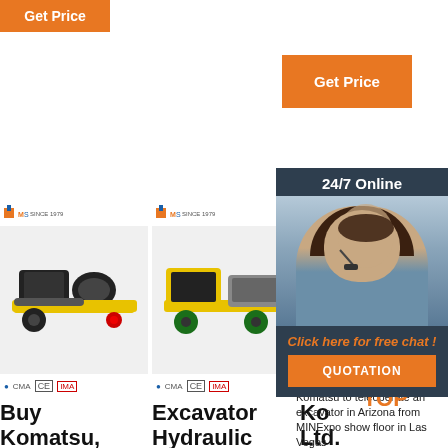[Figure (screenshot): Website screenshot showing construction equipment products with Get Price buttons, 24/7 Online chat overlay, product images of concrete pump machines, certification badges, and product titles including Buy Komatsu Good Quality Komatsu, Excavator Hydraulic Pump Factory Buy Good, and Ko... Ltd. with Komatsu teleoperate description.]